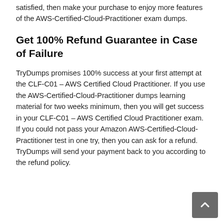satisfied, then make your purchase to enjoy more features of the AWS-Certified-Cloud-Practitioner exam dumps.
Get 100% Refund Guarantee in Case of Failure
TryDumps promises 100% success at your first attempt at the CLF-C01 – AWS Certified Cloud Practitioner. If you use the AWS-Certified-Cloud-Practitioner dumps learning material for two weeks minimum, then you will get success in your CLF-C01 – AWS Certified Cloud Practitioner exam. If you could not pass your Amazon AWS-Certified-Cloud-Practitioner test in one try, then you can ask for a refund. TryDumps will send your payment back to you according to the refund policy.